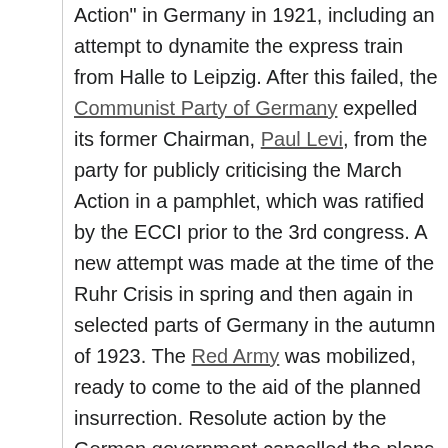Action" in Germany in 1921, including an attempt to dynamite the express train from Halle to Leipzig. After this failed, the Communist Party of Germany expelled its former Chairman, Paul Levi, from the party for publicly criticising the March Action in a pamphlet, which was ratified by the ECCI prior to the 3rd congress. A new attempt was made at the time of the Ruhr Crisis in spring and then again in selected parts of Germany in the autumn of 1923. The Red Army was mobilized, ready to come to the aid of the planned insurrection. Resolute action by the German government cancelled the plans, except due to miscommunication in Hamburg, where 200-300 Communists attacked police stations but were quickly defeated. In 1924 there was a failed coup in Estonia by the Estonian Communist Party.